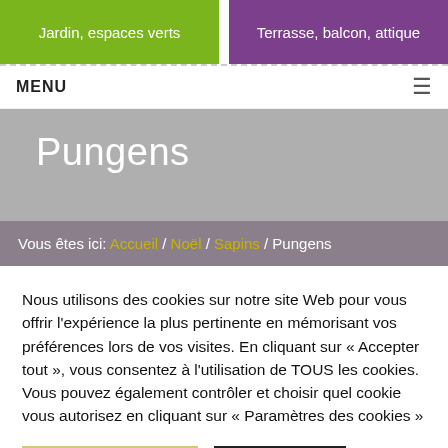Jardin, espaces verts | Terrasse, balcon, attique
MENU
Pungens
Vous êtes ici: Accueil / Noël / Sapins / Pungens
Nous utilisons des cookies sur notre site Web pour vous offrir l'expérience la plus pertinente en mémorisant vos préférences lors de vos visites. En cliquant sur « Accepter tout », vous consentez à l'utilisation de TOUS les cookies. Vous pouvez également contrôler et choisir quel cookie vous autorisez en cliquant sur « Paramètres des cookies »
Paramétrage cookies
Acceptez tous